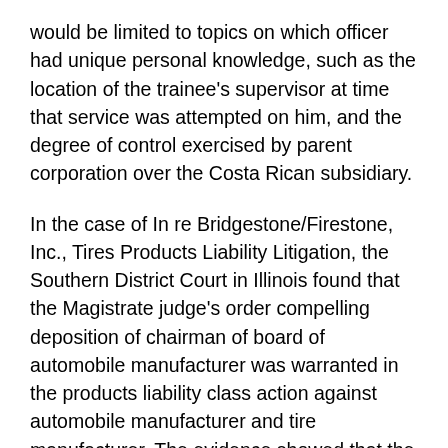would be limited to topics on which officer had unique personal knowledge, such as the location of the trainee's supervisor at time that service was attempted on him, and the degree of control exercised by parent corporation over the Costa Rican subsidiary.
In the case of In re Bridgestone/Firestone, Inc., Tires Products Liability Litigation, the Southern District Court in Illinois found that the Magistrate judge's order compelling deposition of chairman of board of automobile manufacturer was warranted in the products liability class action against automobile manufacturer and tire manufacturer. The evidence showed that the Chairman of the Board referred to his personal knowledge of and involvement in matters relevant to class action, including tire recall, automobile safety issues, and automobile